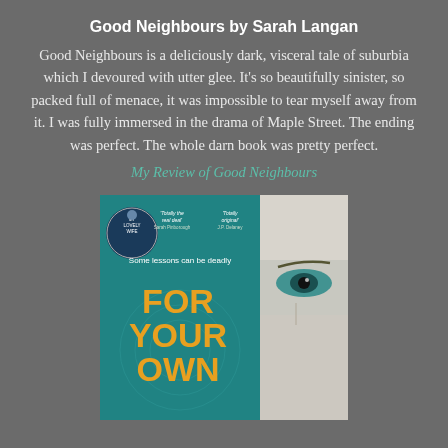Good Neighbours by Sarah Langan
Good Neighbours is a deliciously dark, visceral tale of suburbia which I devoured with utter glee. It’s so beautifully sinister, so packed full of menace, it was impossible to tear myself away from it. I was fully immersed in the drama of Maple Street. The ending was perfect. The whole darn book was pretty perfect.
My Review of Good Neighbours
[Figure (photo): Book cover image showing two book covers side by side: a teal/green book titled 'For Your Own' with text 'Some lessons can be deadly' and a circular badge showing 'My Lovely Wife', and a close-up half-face of a person with teal eyes on the right side. Blurbs read: 'Totally the real deal' Sarah Pinborough, 'Totally original' J.P. Delaney. Large orange text reads 'FOR YOUR OWN'.]